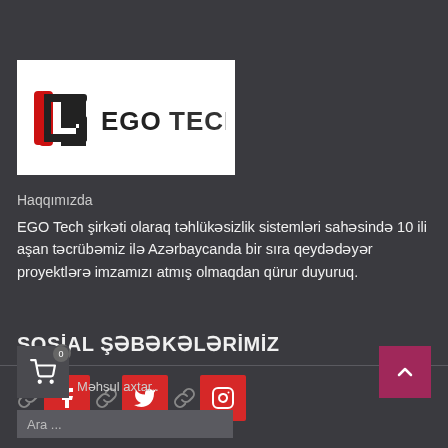[Figure (logo): EGO Tech company logo — stylized G icon in black and red with text EGOTECH]
Haqqımızda
EGO Tech şirkəti olaraq təhlükəsizlik sistemləri sahəsində 10 ili aşan təcrübəmiz ilə Azərbaycanda bir sıra qeydədəyər proyektlərə imzamızı atmış olmaqdan qürur duyuruq.
SOSİAL ŞƏBƏKƏLƏRİMİZ
[Figure (infographic): Social media icons: Facebook (red button), Twitter (red button), Instagram (red button) with chain-link icons between them]
Məhsul axtar..
Ara ...